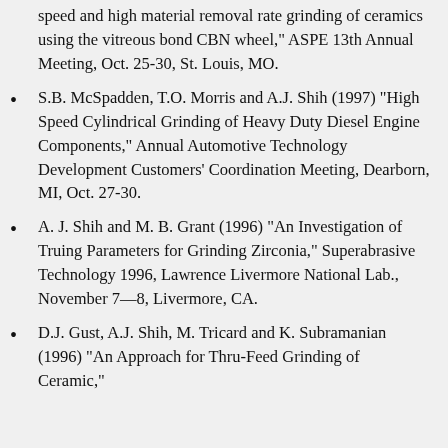speed and high material removal rate grinding of ceramics using the vitreous bond CBN wheel," ASPE 13th Annual Meeting, Oct. 25-30, St. Louis, MO.
S.B. McSpadden, T.O. Morris and A.J. Shih (1997) "High Speed Cylindrical Grinding of Heavy Duty Diesel Engine Components," Annual Automotive Technology Development Customers' Coordination Meeting, Dearborn, MI, Oct. 27-30.
A. J. Shih and M. B. Grant (1996) "An Investigation of Truing Parameters for Grinding Zirconia," Superabrasive Technology 1996, Lawrence Livermore National Lab., November 7—8, Livermore, CA.
D.J. Gust, A.J. Shih, M. Tricard and K. Subramanian (1996) "An Approach for Thru-Feed Grinding of Ceramic,"